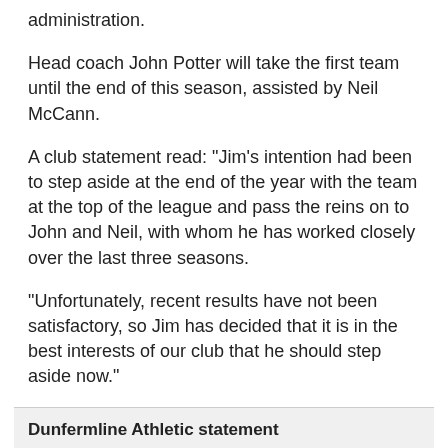administration.
Head coach John Potter will take the first team until the end of this season, assisted by Neil McCann.
A club statement read: "Jim's intention had been to step aside at the end of the year with the team at the top of the league and pass the reins on to John and Neil, with whom he has worked closely over the last three seasons.
"Unfortunately, recent results have not been satisfactory, so Jim has decided that it is in the best interests of our club that he should step aside now."
Dunfermline Athletic statement
"Unfortunately, recent results have not been satisfactory so Jim has decided that it is in the best interests of our club that he should step aside now."
The Pars are fourth in the table, five points behind